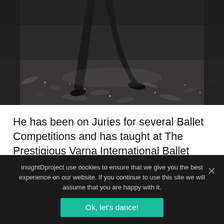[Figure (photo): Black and white photo of a dancer's legs and feet in dark clothing, standing on a floor covered with scattered debris/leaves. Industrial or gritty background setting.]
He has been on Juries for several Ballet Competitions and has taught at The Prestigious Varna International Ballet Competition and The II International Baltic Ballet Competition in Riga, Latvia. He has coached for...
insightDproject use cookies to ensure that we give you the best experience on our website. If you continue to use this site we will assume that you are happy with it.
Ok, let's dance!